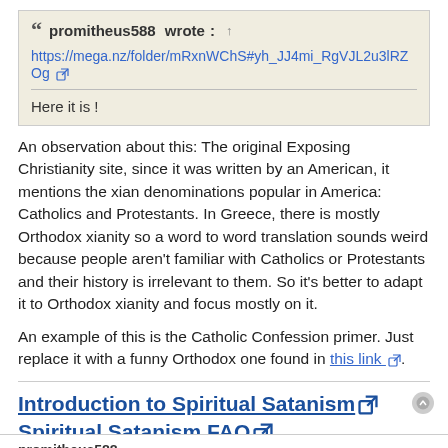promitheus588 wrote: ↑ https://mega.nz/folder/mRxnWChS#yh_JJ4mi_RgVJL2u3lRZOg
Here it is !
An observation about this: The original Exposing Christianity site, since it was written by an American, it mentions the xian denominations popular in America: Catholics and Protestants. In Greece, there is mostly Orthodox xianity so a word to word translation sounds weird because people aren't familiar with Catholics or Protestants and their history is irrelevant to them. So it's better to adapt it to Orthodox xianity and focus mostly on it.
An example of this is the Catholic Confession primer. Just replace it with a funny Orthodox one found in this link.
Introduction to Spiritual Satanism
Spiritual Satanism FAQ
promitheus588